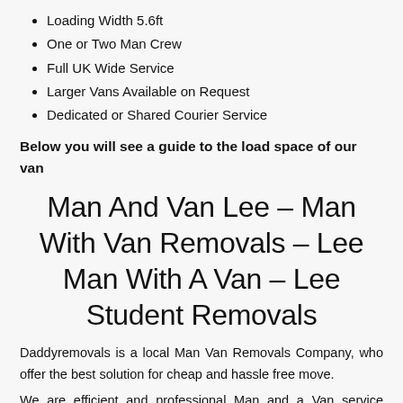Loading Width 5.6ft
One or Two Man Crew
Full UK Wide Service
Larger Vans Available on Request
Dedicated or Shared Courier Service
Below you will see a guide to the load space of our van
Man And Van Lee – Man With Van Removals – Lee Man With A Van – Lee Student Removals
Daddyremovals is a local Man Van Removals Company, who offer the best solution for cheap and hassle free move.
We are efficient and professional Man and a Van service provider with all your moves any full house or single room and business or